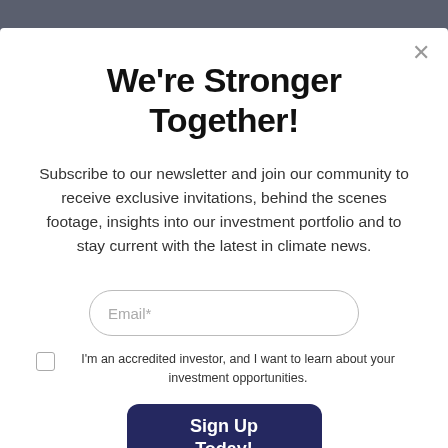We're Stronger Together!
Subscribe to our newsletter and join our community to receive exclusive invitations, behind the scenes footage, insights into our investment portfolio and to stay current with the latest in climate news.
Email*
I'm an accredited investor, and I want to learn about your investment opportunities.
Sign Up Today!